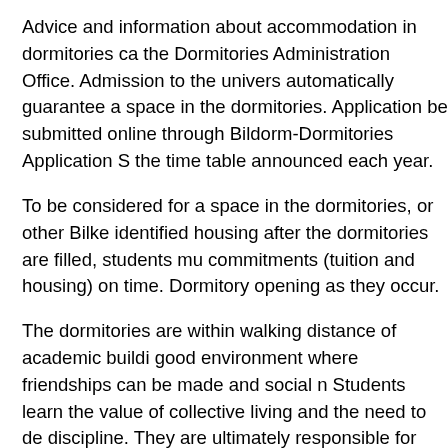Advice and information about accommodation in dormitories can be obtained from the Dormitories Administration Office. Admission to the university does not automatically guarantee a space in the dormitories. Applications for a place must be submitted online through Bildorm-Dormitories Application System, based on the time table announced each year.
To be considered for a space in the dormitories, or other Bilkent University identified housing after the dormitories are filled, students must pay their commitments (tuition and housing) on time. Dormitory openings are announced as they occur.
The dormitories are within walking distance of academic buildings and provide a good environment where friendships can be made and social networks developed. Students learn the value of collective living and the need to develop self-discipline. They are ultimately responsible for their individual conduct. Active support is continuously provided to students by employees in each dormitory building.
Rooms are arranged for single, double, triple and quadruple occupancy.